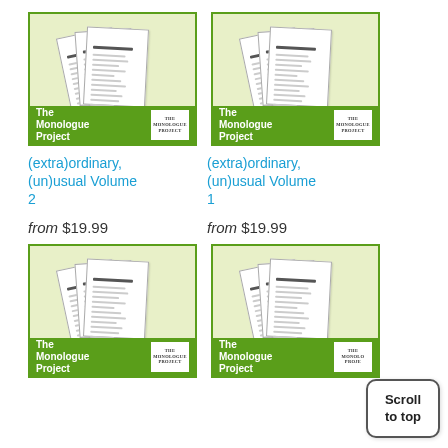[Figure (illustration): Book cover image for The Monologue Project showing stacked script pages with green footer banner reading 'The Monologue Project' and logo — left top product (Volume 2)]
[Figure (illustration): Book cover image for The Monologue Project showing stacked script pages with green footer banner reading 'The Monologue Project' and logo — right top product (Volume 1)]
(extra)ordinary, (un)usual Volume 2
(extra)ordinary, (un)usual Volume 1
from $19.99
from $19.99
[Figure (illustration): Book cover image for The Monologue Project showing stacked script pages with green footer banner reading 'The Monologue Project' and logo — left bottom product]
[Figure (illustration): Book cover image for The Monologue Project showing stacked script pages with green footer banner reading 'The Monologue Project' and logo — right bottom product (partially obscured by scroll button)]